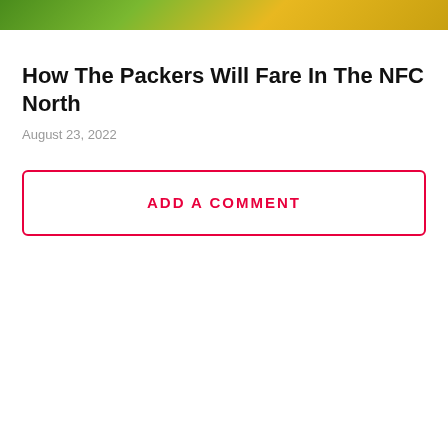[Figure (photo): Partial photo of a Green Bay Packers player in green and yellow uniform, cropped at top of page]
How The Packers Will Fare In The NFC North
August 23, 2022
ADD A COMMENT